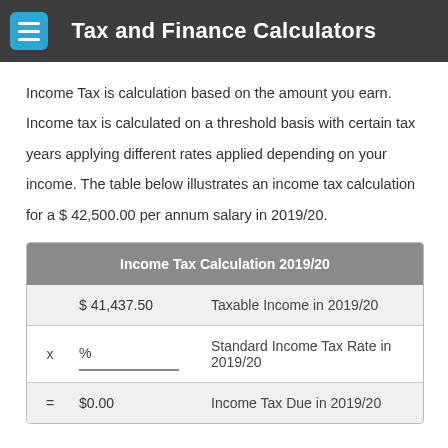Tax and Finance Calculators
Income Tax is calculation based on the amount you earn. Income tax is calculated on a threshold basis with certain tax years applying different rates applied depending on your income. The table below illustrates an income tax calculation for a $ 42,500.00 per annum salary in 2019/20.
| Income Tax Calculation 2019/20 |
| --- |
|  | $ 41,437.50 | Taxable Income in 2019/20 |
| x | % | Standard Income Tax Rate in 2019/20 |
| = | $0.00 | Income Tax Due in 2019/20 |